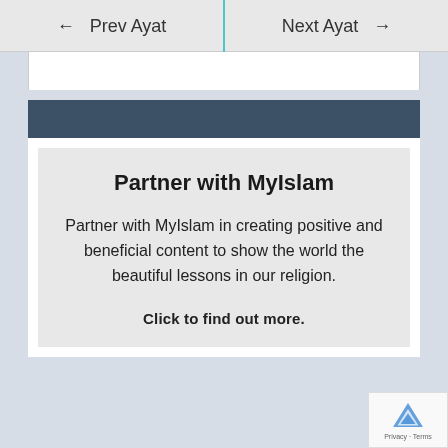← Prev Ayat    Next Ayat →
Partner with MyIslam
Partner with MyIslam in creating positive and beneficial content to show the world the beautiful lessons in our religion.
Click to find out more.